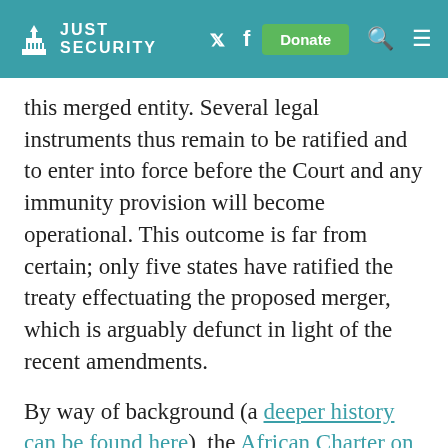JUST SECURITY
this merged entity. Several legal instruments thus remain to be ratified and to enter into force before the Court and any immunity provision will become operational. This outcome is far from certain; only five states have ratified the treaty effectuating the proposed merger, which is arguably defunct in light of the recent amendments.
By way of background (a deeper history can be found here), the African Charter on Human and Peoples' Rights (a.k.a. the Banjul Charter), the continent's omnibus human rights treaty, gave rise to the African Commission on Human and